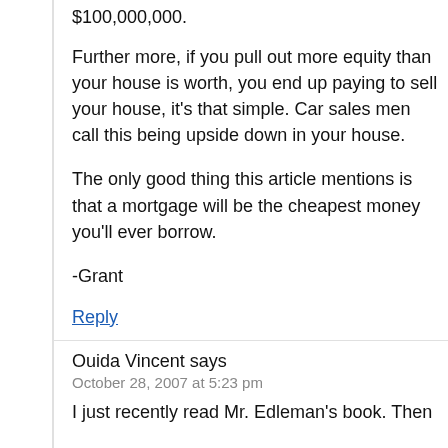$100,000,000.
Further more, if you pull out more equity than your house is worth, you end up paying to sell your house, it’s that simple. Car sales men call this being upside down in your house.
The only good thing this article mentions is that a mortgage will be the cheapest money you’ll ever borrow.
-Grant
Reply
Ouida Vincent says
October 28, 2007 at 5:23 pm
I just recently read Mr. Edleman’s book. Then